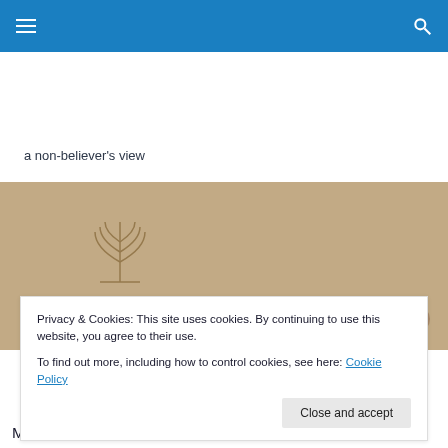Navigation bar with menu and search icons
a non-believer's view
[Figure (photo): Ancient stone relief carving showing a menorah and figures, appears to be the Arch of Titus relief depicting the sack of Jerusalem]
Privacy & Cookies: This site uses cookies. By continuing to use this website, you agree to their use.
To find out more, including how to control cookies, see here: Cookie Policy
Close and accept
Monotheism is authoritarian – if there is only one god, and